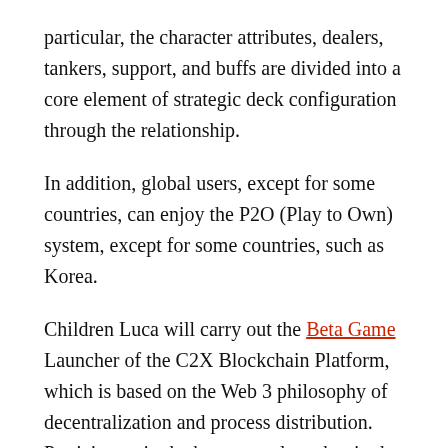particular, the character attributes, dealers, tankers, support, and buffs are divided into a core element of strategic deck configuration through the relationship.
In addition, global users, except for some countries, can enjoy the P2O (Play to Own) system, except for some countries, such as Korea.
Children Luca will carry out the Beta Game Launcher of the C2X Blockchain Platform, which is based on the Web 3 philosophy of decentralization and process distribution. Participants in the beta game launcher in the global region can freely use the game and express their intention to install the platform according to satisfaction. If you have a ‘Game Fan Card’ until the